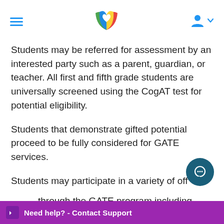[Navigation header with hamburger menu, colorful book-heart logo, and user icon]
Students may be referred for assessment by an interested party such as a parent, guardian, or teacher. All first and fifth grade students are universally screened using the CogAT test for potential eligibility.
Students that demonstrate gifted potential proceed to be fully considered for GATE services.
Students may participate in a variety of off[erings] through the GATE program including differe[ntiat]ion in the classroom, advanc[ed courses…]